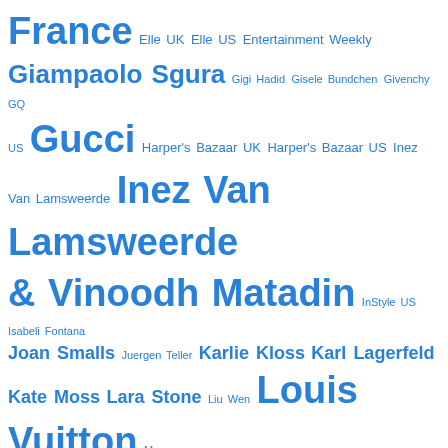[Figure (infographic): Tag cloud in blue showing fashion-related tags of varying sizes: France, Elle UK, Elle US, Entertainment Weekly, Giampaolo Sgura, Gigi Hadid, Gisele Bundchen, Givenchy, GQ US, Gucci, Harper's Bazaar UK, Harper's Bazaar US, Inez Van Lamsweerde, Inez Van Lamsweerde & Vinoodh Matadin, InStyle US, Isabeli Fontana, Joan Smalls, Juergen Teller, Karlie Kloss, Karl Lagerfeld, Kate Moss, Lara Stone, Liu Wen, Louis Vuitton, Marcus Piggott, Marie Claire US, Mario Sorrenti, Mario Testino, Mert Alas, Mert Alas & Marcus Piggott, Milan Fashion Week, Miranda Kerr, Natalia Vodianova, New York Fashion Week, Paris]